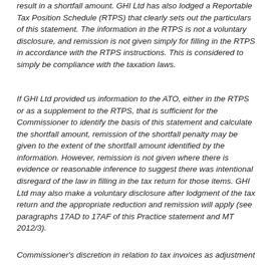result in a shortfall amount. GHI Ltd has also lodged a Reportable Tax Position Schedule (RTPS) that clearly sets out the particulars of this statement. The information in the RTPS is not a voluntary disclosure, and remission is not given simply for filling in the RTPS in accordance with the RTPS instructions. This is considered to simply be compliance with the taxation laws.
If GHI Ltd provided us information to the ATO, either in the RTPS or as a supplement to the RTPS, that is sufficient for the Commissioner to identify the basis of this statement and calculate the shortfall amount, remission of the shortfall penalty may be given to the extent of the shortfall amount identified by the information. However, remission is not given where there is evidence or reasonable inference to suggest there was intentional disregard of the law in filling in the tax return for those items. GHI Ltd may also make a voluntary disclosure after lodgment of the tax return and the appropriate reduction and remission will apply (see paragraphs 17AD to 17AF of this Practice statement and MT 2012/3).
Commissioner's discretion in relation to tax invoices as adjustment